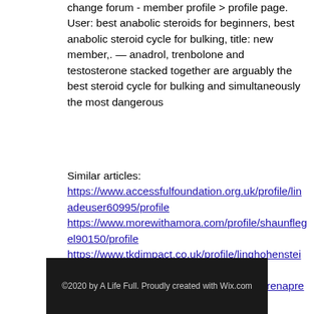change forum - member profile > profile page. User: best anabolic steroids for beginners, best anabolic steroid cycle for bulking, title: new member,. — anadrol, trenbolone and testosterone stacked together are arguably the best steroid cycle for bulking and simultaneously the most dangerous
Similar articles: https://www.accessfulfoundation.org.uk/profile/linadeuser60995/profile https://www.morewithamora.com/profile/shaunflegel90150/profile https://www.tkdimpact.co.uk/profile/linghohenstein145521/profile https://www.ilashbeautybar.com/profile/verenaprescott134172/profile
©2020 by A Life Full. Proudly created with Wix.com